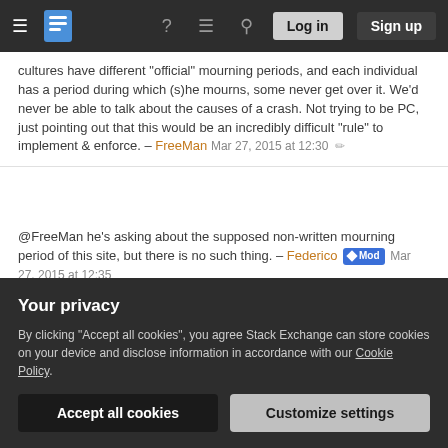Stack Exchange navigation bar with hamburger menu, logo, help, chat, search, Log in, Sign up
cultures have different "official" mourning periods, and each individual has a period during which (s)he mourns, some never get over it. We'd never be able to talk about the causes of a crash. Not trying to be PC, just pointing out that this would be an incredibly difficult "rule" to implement & enforce. – FreeMan Mar 27, 2015 at 12:30
@FreeMan he's asking about the supposed non-written mourning period of this site, but there is no such thing. – Federico Mod Mar 27, 2015 at 12:35
@Federico answers my question. should we, then? – Erich Mar 27, 2015 at 12:37
Your privacy
By clicking "Accept all cookies", you agree Stack Exchange can store cookies on your device and disclose information in accordance with our Cookie Policy.
Accept all cookies  Customize settings